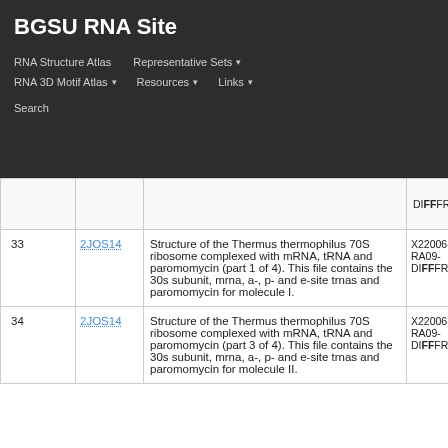BGSU RNA Site
RNA Structure Atlas | Representative Sets ▾ | RNA 3D Motif Atlas ▾ | Resources ▾ | Links ▾ | Search
| # | ID | Description | Method |
| --- | --- | --- | --- |
|  |  |  | DIFFRAC |
| 33 | 2JOS14 | Structure of the Thermus thermophilus 70S ribosome complexed with mRNA, tRNA and paromomycin (part 1 of 4). This file contains the 30s subunit, mrna, a-, p- and e-site trnas and paromomycin for molecule I. | X220 06-RA 09-DIFFRAC |
| 34 | 2JOS14 | Structure of the Thermus thermophilus 70S ribosome complexed with mRNA, tRNA and paromomycin (part 3 of 4). This file contains the 30s subunit, mrna, a-, p- and e-site trnas and paromomycin for molecule II. | X220 06-RA 09-DIFFRAC |